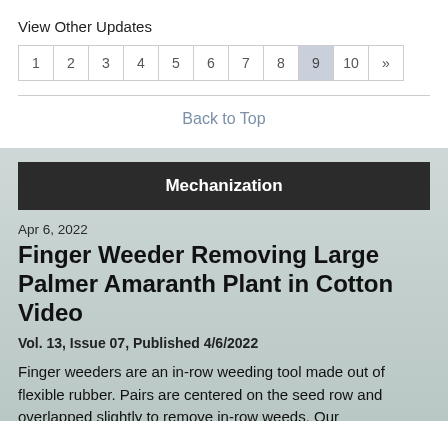View Other Updates
| 1 | 2 | 3 | 4 | 5 | 6 | 7 | 8 | 9 | 10 | » |
| --- | --- | --- | --- | --- | --- | --- | --- | --- | --- | --- |
Back to Top
Mechanization
Apr 6, 2022
Finger Weeder Removing Large Palmer Amaranth Plant in Cotton Video
Vol. 13, Issue 07, Published 4/6/2022
Finger weeders are an in-row weeding tool made out of flexible rubber. Pairs are centered on the seed row and overlapped slightly to remove in-row weeds. Our